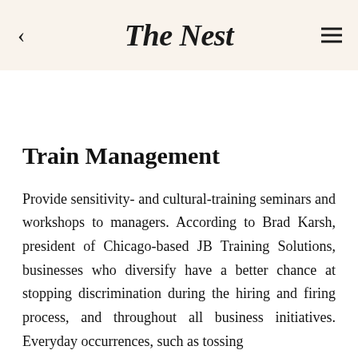The Nest
Train Management
Provide sensitivity- and cultural-training seminars and workshops to managers. According to Brad Karsh, president of Chicago-based JB Training Solutions, businesses who diversify have a better chance at stopping discrimination during the hiring and firing process, and throughout all business initiatives. Everyday occurrences, such as tossing